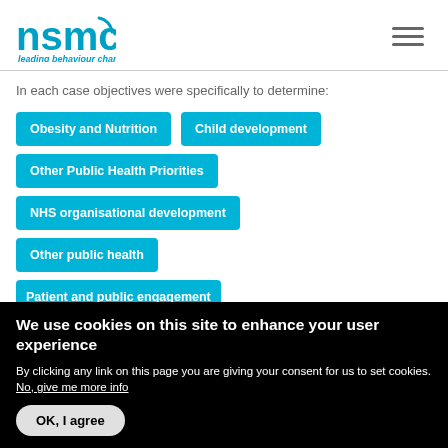[Figure (logo): NSMC logo with text 'leading behaviour change']
In each case objectives were specifically to determine:
Obesity and Nutrition
Child development
Other Public Health Priorities
NHS organisational development
Other public health
Patient and public engagement
We use cookies on this site to enhance your user experience
By clicking any link on this page you are giving your consent for us to set cookies. No, give me more info
OK, I agree